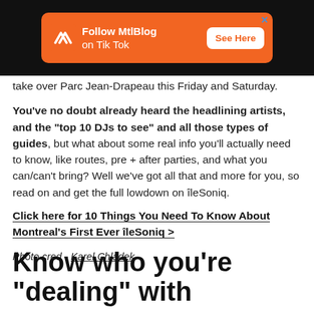[Figure (other): Orange advertisement banner for MtlBlog on TikTok with logo, text 'Follow MtlBlog on Tik Tok' and 'See Here' button, on black background]
take over Parc Jean-Drapeau this Friday and Saturday.
You've no doubt already heard the headlining artists, and the "top 10 DJs to see" and all those types of guides, but what about some real info you'll actually need to know, like routes, pre + after parties, and what you can/can't bring? Well we've got all that and more for you, so read on and get the full lowdown on îleSoniq.
Click here for 10 Things You Need To Know About Montreal's First Ever îleSoniq >
Photo cred - Karel Chladek
Know who you're "dealing" with